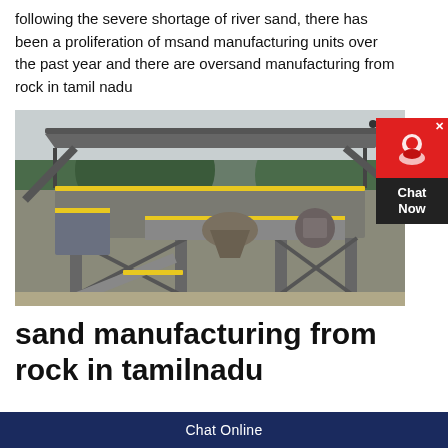following the severe shortage of river sand, there has been a proliferation of msand manufacturing units over the past year and there are oversand manufacturing from rock in tamil nadu
[Figure (photo): Industrial sand manufacturing plant with multi-level steel structure, conveyors, yellow railings, and heavy machinery on a construction/mining site.]
sand manufacturing from rock in tamilnadu
Chat Online